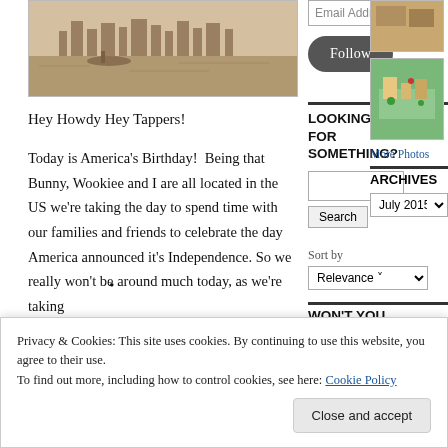[Figure (photo): Sepia-toned photograph of a waterfront cityscape with boats on water and city buildings in the background]
Hey Howdy Hey Tappers!
Today is America's Birthday!  Being that Bunny, Wookiee and I are all located in the US we're taking the day to spend time with our families and friends to celebrate the day America announced it's Independence. So we really won't be around much today, as we're taking
Email Address
[Figure (illustration): Follow button - dark rounded rectangle with white Follow text]
LOOKING FOR SOMETHING?
[Figure (screenshot): Search input box and Search button]
Sort by
Relevance
WON'T YOU
[Figure (photo): Small thumbnail image top right]
[Figure (illustration): Isometric game screenshot showing a colorful town layout with green areas]
More Photos
ARCHIVES
July 2015
SHOWBIZ
Privacy & Cookies: This site uses cookies. By continuing to use this website, you agree to their use.
To find out more, including how to control cookies, see here: Cookie Policy
Close and accept